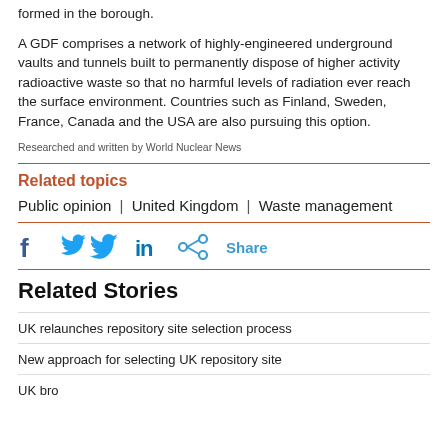formed in the borough.
A GDF comprises a network of highly-engineered underground vaults and tunnels built to permanently dispose of higher activity radioactive waste so that no harmful levels of radiation ever reach the surface environment. Countries such as Finland, Sweden, France, Canada and the USA are also pursuing this option.
Researched and written by World Nuclear News
Related topics
Public opinion  |  United Kingdom  |  Waste management
Share (social media icons: Facebook, Twitter, LinkedIn, Share)
Related Stories
UK relaunches repository site selection process
New approach for selecting UK repository site
UK broadens consultation on repository siting